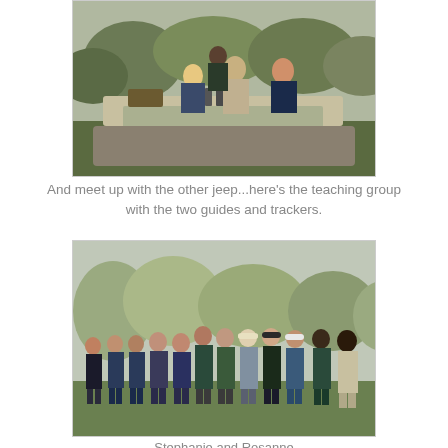[Figure (photo): Group of people standing around an open jeep in a green landscape, preparing drinks on the roof of the vehicle. There are shrubs and trees in the background.]
And meet up with the other jeep...here's the teaching group with the two guides and trackers.
[Figure (photo): A group of approximately 12 people standing together on a grassy area with bare trees in the background. They appear to be holding mugs and smiling at the camera.]
Stephanie and Rosanne